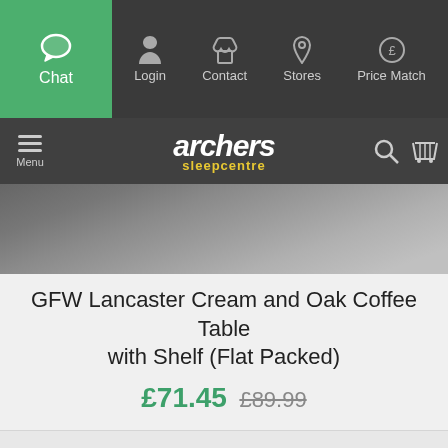Chat | Login | Contact | Stores | Price Match
[Figure (logo): Archers Sleepcentre logo with hamburger menu, search and basket icons on dark background]
[Figure (photo): Close-up product photo of a rug/carpet texture in grey tones]
GFW Lancaster Cream and Oak Coffee Table with Shelf (Flat Packed)
£71.45 £89.99
FREE delivery 14 to 18 weeks
We use cookies to improve your experience. By continuing you agree to the use of our cookies.
ACCEPT AND CLOSE